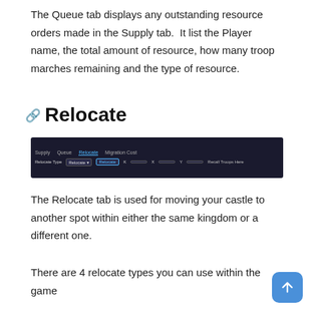The Queue tab displays any outstanding resource orders made in the Supply tab.  It list the Player name, the total amount of resource, how many troop marches remaining and the type of resource.
Relocate
[Figure (screenshot): Dark-themed UI screenshot showing tabs: Supply, Queue, Relocate (active/highlighted in blue), Migration Cost. Below shows controls: Relocate Type dropdown set to 'Relocate', a Relocate button, K/X/Y input fields, and a 'Recall Troops' button.]
The Relocate tab is used for moving your castle to another spot within either the same kingdom or a different one.
There are 4 relocate types you can use within the game